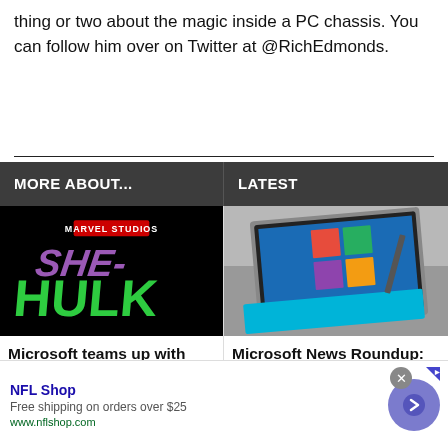thing or two about the magic inside a PC chassis. You can follow him over on Twitter at @RichEdmonds.
MORE ABOUT...
LATEST
[Figure (photo): She-Hulk Marvel Studios promotional logo on black background]
[Figure (photo): Microsoft Surface Pro tablet with blue keyboard cover on a grey couch]
Microsoft teams up with Marvel's She-Hulk to promote Windows 11
Microsoft News Roundup: She-Hulk on a Surface Pro 8
NFL Shop
Free shipping on orders over $25
www.nflshop.com